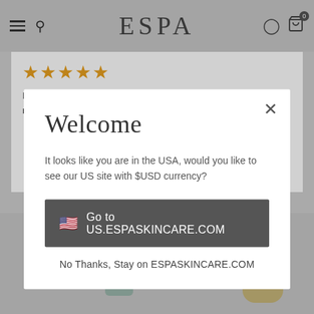ESPA
I love this product it is non greasy lasts ages and is also good at removing eye makeup i would highly recommend this.
Welcome
It looks like you are in the USA, would you like to see our US site with $USD currency?
🇺🇸  Go to US.ESPASKINCARE.COM
No Thanks, Stay on ESPASKINCARE.COM
[Figure (photo): Two skincare product bottles at the bottom of the page on a grey background — a green pump bottle on the left and an ESPA branded gold/yellow tube on the right.]